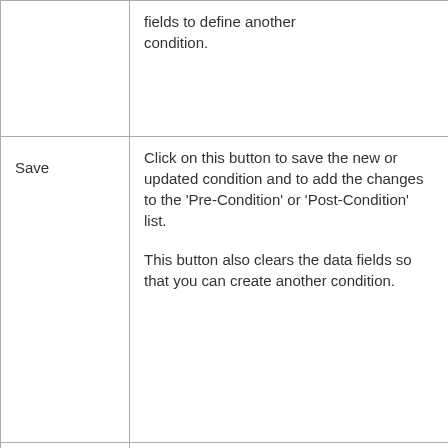| Field | Description |  |
| --- | --- | --- |
|  | fields to define another condition. |  |
| Save | Click on this button to save the new or updated condition and to add the changes to the 'Pre-Condition' or 'Post-Condition' list.

This button also clears the data fields so that you can create another condition. |  |
| Pre-Condition Post-Condition | Lists the pre-conditions or post-conditions that have been defined for this operation.

Click on an item in this list to re-populate the dialog fields with the details, to edit or delete the |  |